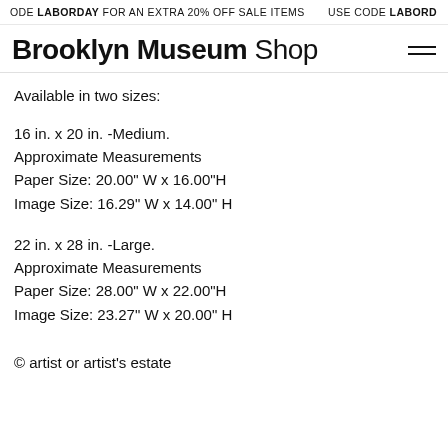ODE LABORDAY FOR AN EXTRA 20% OFF SALE ITEMS   USE CODE LABORD
Brooklyn Museum Shop
Available in two sizes:
16 in. x 20 in. -Medium.
Approximate Measurements
Paper Size: 20.00" W x 16.00"H
Image Size: 16.29" W x 14.00" H
22 in. x 28 in. -Large.
Approximate Measurements
Paper Size: 28.00" W x 22.00"H
Image Size: 23.27" W x 20.00" H
© artist or artist's estate